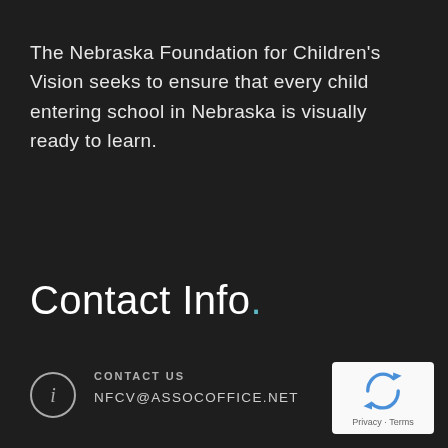The Nebraska Foundation for Children's Vision seeks to ensure that every child entering school in Nebraska is visually ready to learn.
Contact Info.
CONTACT US
NFCV@ASSOCOFFICE.NET
[Figure (logo): reCAPTCHA badge with recycling arrow icon, Privacy and Terms links]